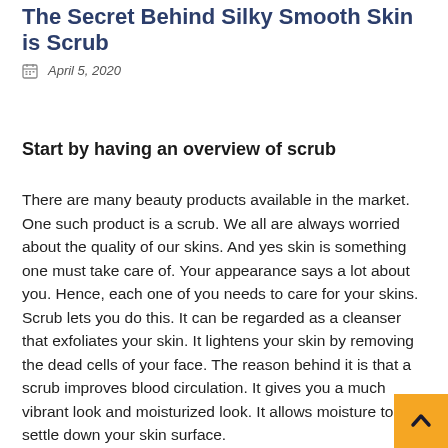The Secret Behind Silky Smooth Skin is Scrub
April 5, 2020
Start by having an overview of scrub
There are many beauty products available in the market. One such product is a scrub. We all are always worried about the quality of our skins. And yes skin is something one must take care of. Your appearance says a lot about you. Hence, each one of you needs to care for your skins. Scrub lets you do this. It can be regarded as a cleanser that exfoliates your skin. It lightens your skin by removing the dead cells of your face. The reason behind it is that a scrub improves blood circulation. It gives you a much vibrant look and moisturized look. It allows moisture to settle down your skin surface.